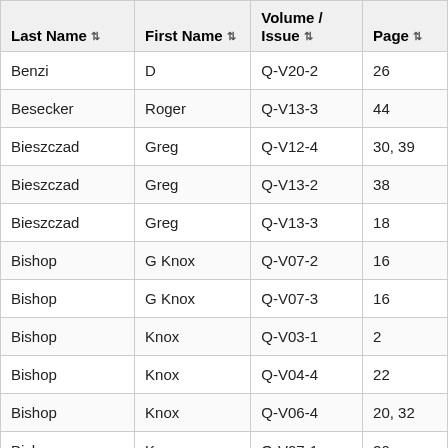| Last Name | First Name | Volume / Issue | Page |
| --- | --- | --- | --- |
| Benzi | D | Q-V20-2 | 26 |
| Besecker | Roger | Q-V13-3 | 44 |
| Bieszczad | Greg | Q-V12-4 | 30, 39 |
| Bieszczad | Greg | Q-V13-2 | 38 |
| Bieszczad | Greg | Q-V13-3 | 18 |
| Bishop | G Knox | Q-V07-2 | 16 |
| Bishop | G Knox | Q-V07-3 | 16 |
| Bishop | Knox | Q-V03-1 | 2 |
| Bishop | Knox | Q-V04-4 | 22 |
| Bishop | Knox | Q-V06-4 | 20, 32 |
| Bishop | Knox | Q-V07-1 | 20 |
| Bishop | Knox | Q-V08-2 | 18 |